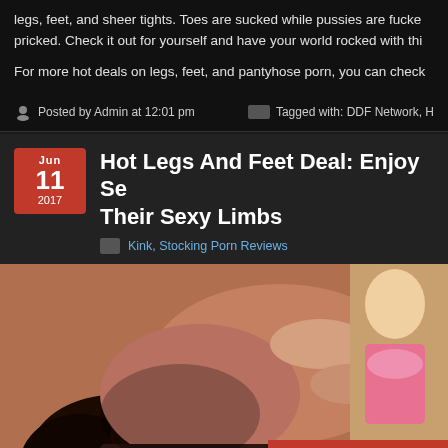legs, feet, and sheer tights. Toes are sucked while pussies are fucked and pricked. Check it out for yourself and have your world rocked with thi
For more hot deals on legs, feet, and pantyhose porn, you can chec
Posted by Admin at 12:01 pm
Tagged with: DDF Network, H
Hot Legs And Feet Deal: Enjoy Se Their Sexy Limbs
Kink, Stocking Porn Reviews
[Figure (photo): Photo of two people in an intimate scene, partially cropped]
SEE ME NAKED ON www.istripper.com